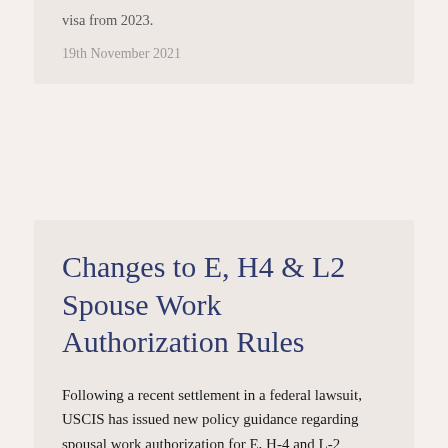visa from 2023.
19th November 2021
Changes to E, H4 & L2 Spouse Work Authorization Rules
Following a recent settlement in a federal lawsuit, USCIS has issued new policy guidance regarding spousal work authorization for E, H-4 and L-2 spouses.